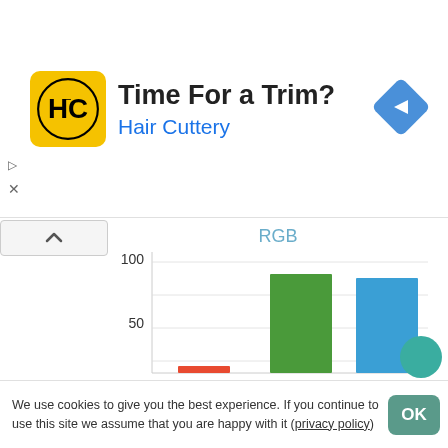[Figure (advertisement): Hair Cuttery ad banner: yellow logo with HC initials, text 'Time For a Trim?' and 'Hair Cuttery' in blue, blue navigation diamond icon on right, play and close controls on left]
[Figure (bar-chart): RGB]
We use cookies to give you the best experience. If you continue to use this site we assume that you are happy with it (privacy policy)